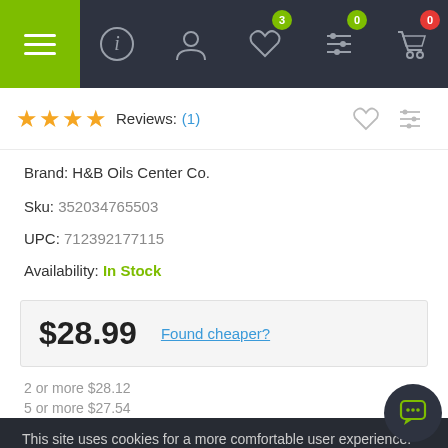[Figure (screenshot): Top navigation bar with hamburger menu (green background), info icon, user icon, heart icon with badge 3 (green), sliders icon with badge 0 (green), cart icon with badge 0 (red)]
★★★★ Reviews: (1)
Brand: H&B Oils Center Co.
Sku: 352034765503
UPC: 712392177115
Availability: In Stock
$28.99   Found cheaper?
2 or more $28.12
5 or more $27.54
This site uses cookies for a more comfortable user experience. By continuing to browse the site, you agree to the use of cookies. More
Accept
Qty: